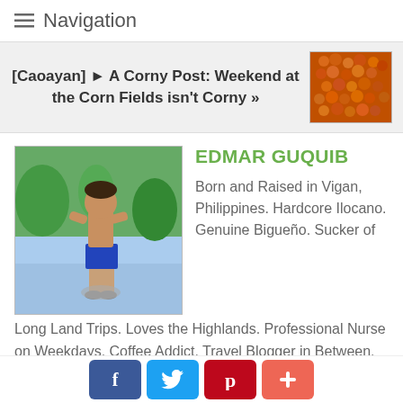☰ Navigation
[Caoayan] ► A Corny Post: Weekend at the Corn Fields isn't Corny »
[Figure (photo): Thumbnail image of orange corn cobs]
[Figure (photo): Author photo of Edmar Guquib standing outdoors near water]
EDMAR GUQUIB
Born and Raised in Vigan, Philippines. Hardcore Ilocano. Genuine Bigueño. Sucker of Long Land Trips. Loves the Highlands. Professional Nurse on Weekdays. Coffee Addict. Travel Blogger in Between. For sponsorship, advertising, event invites and
[Figure (infographic): Social share buttons: Facebook (blue), Twitter (light blue), Pinterest (red), Plus/share (coral red)]